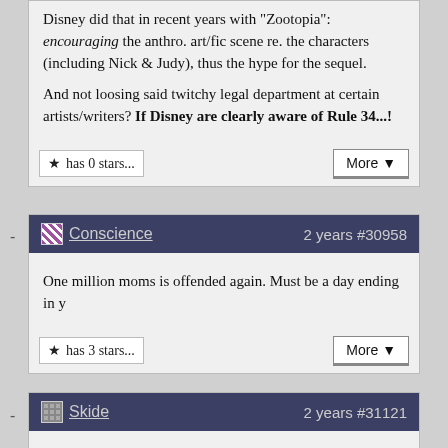Disney did that in recent years with "Zootopia": encouraging the anthro. art/fic scene re. the characters (including Nick & Judy), thus the hype for the sequel.

And not loosing said twitchy legal department at certain artists/writers? If Disney are clearly aware of Rule 34...!
has 0 stars...
More ▼
Conscience   2 years #30958
One million moms is offended again. Must be a day ending in y
has 3 stars...
More ▼
Skide   2 years #31121
I wonder what gives these couple secluded housewives the